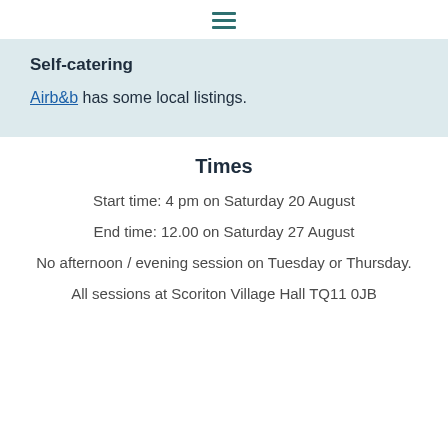≡
Self-catering
Airb&b has some local listings.
Times
Start time: 4 pm on Saturday 20 August
End time: 12.00 on Saturday 27 August
No afternoon / evening session on Tuesday or Thursday.
All sessions at Scoriton Village Hall TQ11 0JB